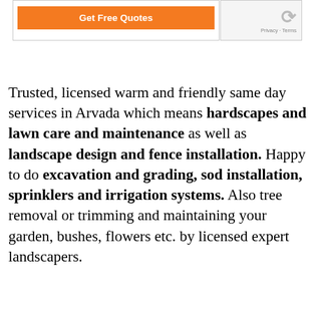[Figure (screenshot): A web UI element showing an orange 'Get Free Quotes' button and a reCAPTCHA logo with Privacy - Terms links]
Trusted, licensed warm and friendly same day services in Arvada which means hardscapes and lawn care and maintenance as well as landscape design and fence installation. Happy to do excavation and grading, sod installation, sprinklers and irrigation systems. Also tree removal or trimming and maintaining your garden, bushes, flowers etc. by licensed expert landscapers.